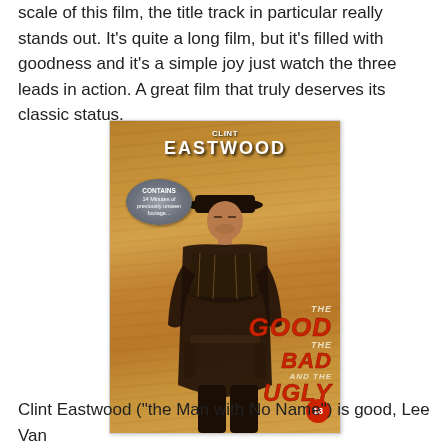scale of this film, the title track in particular really stands out. It's quite a long film, but it's filled with goodness and it's a simple joy just watch the three leads in action. A great film that truly deserves its classic status.
[Figure (photo): DVD cover of 'The Good, The Bad and The Ugly' featuring Clint Eastwood in cowboy hat. Text reads 'CLINT EASTWOOD' at top, badge saying 'CONTAINS 14 Minutes of previously unseen footage', and the film title in large red italic text. Rating circle showing '18' at bottom right.]
Clint Eastwood ("the Man with No Name") is good, Lee Van